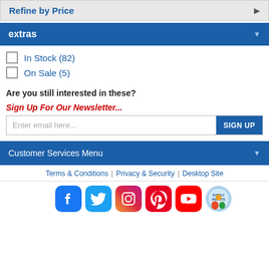Refine by Price
extras
In Stock (82)
On Sale (5)
Are you still interested in these?
Sign Up For Our Newsletter...
Enter email here...  SIGN UP
Customer Services Menu
Terms & Conditions | Privacy & Security | Desktop Site